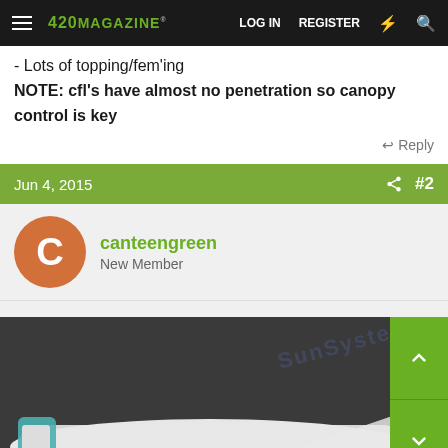420 Magazine | LOG IN | REGISTER
- Lots of topping/fem'ing
NOTE: cfl's have almost no penetration so canopy control is key
↩ Reply
Jun 4, 2015   #2
canteengreen
New Member
[Figure (photo): Close-up photo of fluorescent CFL tube light against a dark surface with 'Sun System' branding text visible]